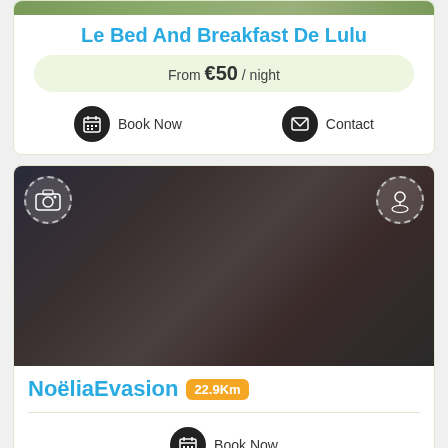[Figure (photo): Top portion of a nature/landscape photo at top of card 1]
Le Bed And Breakfast De Lulu
From €50 / night
Book Now
Contact
[Figure (photo): Dark blurry interior/bedroom photo for NoëliaEvasion listing with camera and map pin overlay icons]
NoëliaEvasion 22.9Km
Book Now